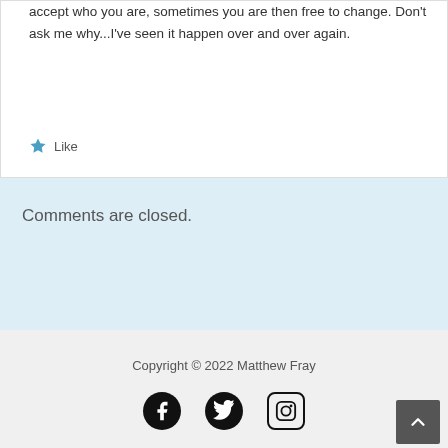accept who you are, sometimes you are then free to change. Don't ask me why...I've seen it happen over and over again.
Like
Comments are closed.
Copyright © 2022 Matthew Fray